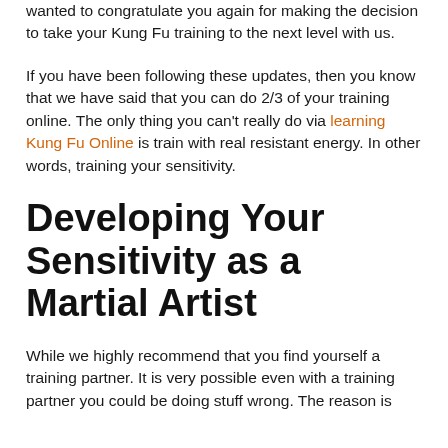wanted to congratulate you again for making the decision to take your Kung Fu training to the next level with us.
If you have been following these updates, then you know that we have said that you can do 2/3 of your training online. The only thing you can't really do via learning Kung Fu Online is train with real resistant energy. In other words, training your sensitivity.
Developing Your Sensitivity as a Martial Artist
While we highly recommend that you find yourself a training partner. It is very possible even with a training partner you could be doing stuff wrong. The reason is